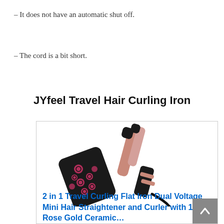– It does not have an automatic shut off.
– The cord is a bit short.
JYfeel Travel Hair Curling Iron
[Figure (photo): A rose gold and black 2-in-1 travel curling and flat iron shown alongside a floral-patterned black heat-resistant pouch with pink roses.]
2 in 1 Travel Curling Flat Iron Dual Voltage Mini Hair Straightener and Curler with 1 Inch Rose Gold Ceramic…